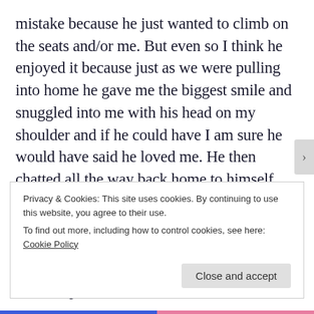mistake because he just wanted to climb on the seats and/or me. But even so I think he enjoyed it because just as we were pulling into home he gave me the biggest smile and snuggled into me with his head on my shoulder and if he could have I am sure he would have said he loved me. He then chatted all the way back home to himself saying Mama Mama and actually chose me over his Dad for a cuddle when we got home which pretty much never happens. So I can't help but sit down on the sofa once he's tucked up in bed and think that
Privacy & Cookies: This site uses cookies. By continuing to use this website, you agree to their use.
To find out more, including how to control cookies, see here: Cookie Policy
Close and accept